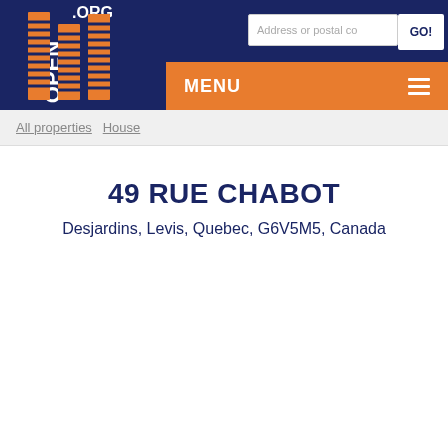[Figure (logo): OpenQuebec.org logo with orange building/chevron motif and white text reading OPEN, .ORG, QUEBEC on dark navy background]
Address or postal co
GO!
MENU
All properties   House
49 RUE CHABOT
Desjardins, Levis, Quebec, G6V5M5, Canada